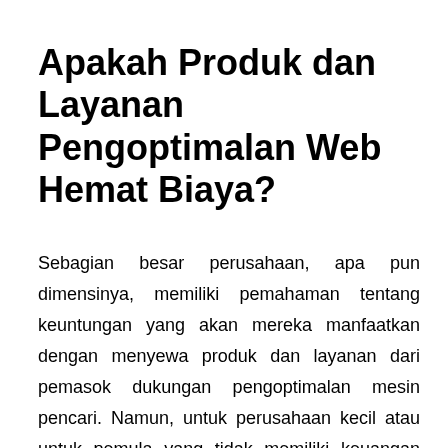Apakah Produk dan Layanan Pengoptimalan Web Hemat Biaya?
Sebagian besar perusahaan, apa pun dimensinya, memiliki pemahaman tentang keuntungan yang akan mereka manfaatkan dengan menyewa produk dan layanan dari pemasok dukungan pengoptimalan mesin pencari. Namun, untuk perusahaan kecil atau untuk pemula yang tidak memiliki keuangan yang signifikan untuk kebutuhan pengoptimalan mesin pencarinya, mendapatkan perusahaan Seo yang efisien namun sangat terjangkau mungkin merupakan pekerjaan yang sulit. Persepsi